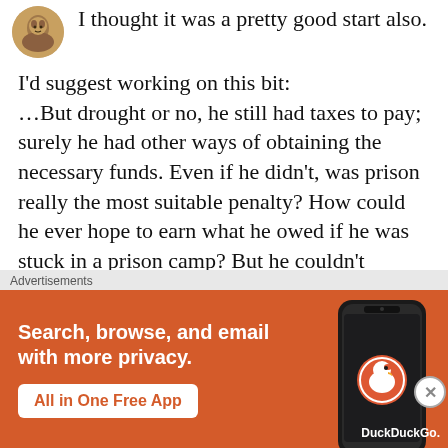I thought it was a pretty good start also.
I'd suggest working on this bit: …But drought or no, he still had taxes to pay; surely he had other ways of obtaining the necessary funds. Even if he didn't, was prison really the most suitable penalty? How could he ever hope to earn what he owed if he was stuck in a prison camp? But he couldn't simply let the man go, either…
It's telling and it has several rhetorical
[Figure (other): DuckDuckGo advertisement banner with orange background. Text reads: Search, browse, and email with more privacy. All in One Free App. Shows a smartphone graphic and DuckDuckGo logo.]